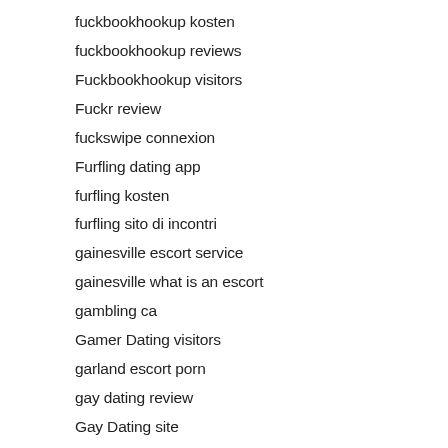fuckbookhookup kosten
fuckbookhookup reviews
Fuckbookhookup visitors
Fuckr review
fuckswipe connexion
Furfling dating app
furfling kosten
furfling sito di incontri
gainesville escort service
gainesville what is an escort
gambling ca
Gamer Dating visitors
garland escort porn
gay dating review
Gay Dating site
Gay Dating visitors
gay hookup apps anonymous
Gay Hookup Apps review